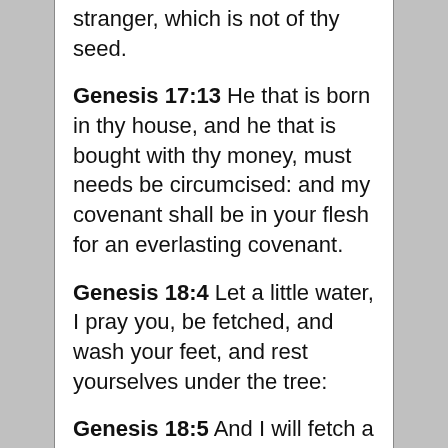stranger, which is not of thy seed.
Genesis 17:13  He that is born in thy house, and he that is bought with thy money, must needs be circumcised: and my covenant shall be in your flesh for an everlasting covenant.
Genesis 18:4  Let a little water, I pray you, be fetched, and wash your feet, and rest yourselves under the tree:
Genesis 18:5  And I will fetch a morsel of bread, and comfort ye your hearts; after that ye shall pass on: for therefore are ye...